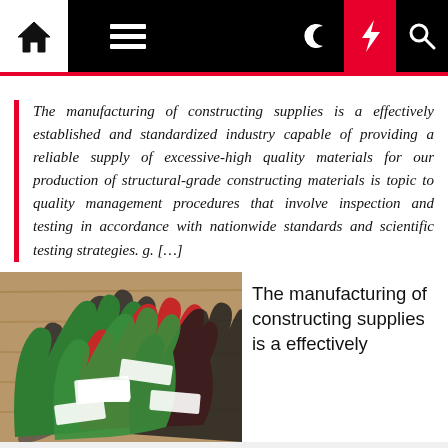Navigation bar with home, menu, moon, bolt, and search icons
The manufacturing of constructing supplies is a effectively established and standardized industry capable of providing a reliable supply of excessive-high quality materials for our production of structural-grade constructing materials is topic to quality management procedures that involve inspection and testing in accordance with nationwide standards and scientific testing strategies. g. […]
[Figure (photo): Photo of colorful paper hand cutouts in green, red, and dark/black colors arranged in a fan pattern on a wooden surface, with small white labels attached to each hand]
The manufacturing of constructing supplies is a effectively